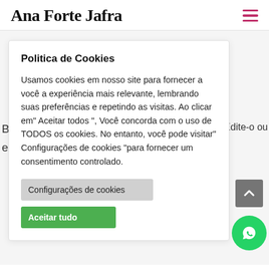Ana Forte Jafra
Politica de Cookies
Usamos cookies em nosso site para fornecer a você a experiência mais relevante, lembrando suas preferências e repetindo as visitas. Ao clicar em" Aceitar todos ", Você concorda com o uso de TODOS os cookies. No entanto, você pode visitar" Configurações de cookies "para fornecer um consentimento controlado.
Configurações de cookies
Aceitar tudo